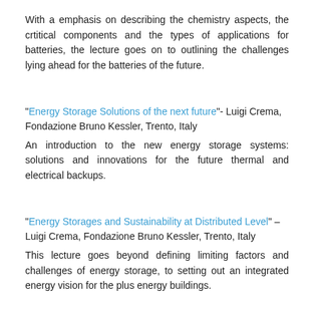With a emphasis on describing the chemistry aspects, the crtitical components and the types of applications for batteries, the lecture goes on to outlining the challenges lying ahead for the batteries of the future.
"Energy Storage Solutions of the next future"- Luigi Crema, Fondazione Bruno Kessler, Trento, Italy

An introduction to the new energy storage systems: solutions and innovations for the future thermal and electrical backups.
"Energy Storages and Sustainability at Distributed Level" – Luigi Crema, Fondazione Bruno Kessler, Trento, Italy

This lecture goes beyond defining limiting factors and challenges of energy storage, to setting out an integrated energy vision for the plus energy buildings.
"New Developments for Electrochemical Energy Storage" – Kai-